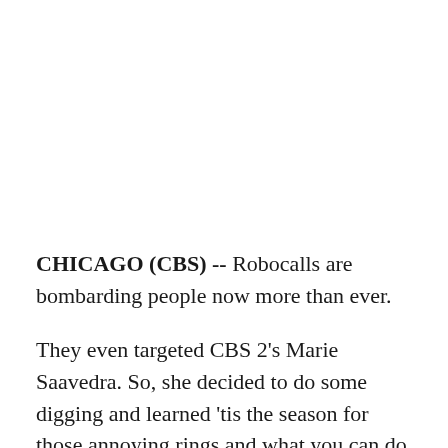CHICAGO (CBS) -- Robocalls are bombarding people now more than ever.
They even targeted CBS 2's Marie Saavedra. So, she decided to do some digging and learned 'tis the season for those annoying rings and what you can do to try to stop them.
If it seems like you've had more of these spam calls in